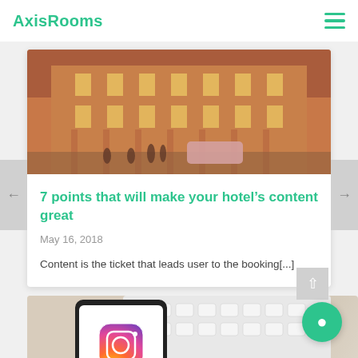AxisRooms
[Figure (photo): Hotel building exterior at night with warm golden lighting, columns, and people on the street]
7 points that will make your hotel’s content great
May 16, 2018
Content is the ticket that leads user to the booking[...]
[Figure (photo): Person holding a smartphone showing the Instagram app, with a keyboard in the background]